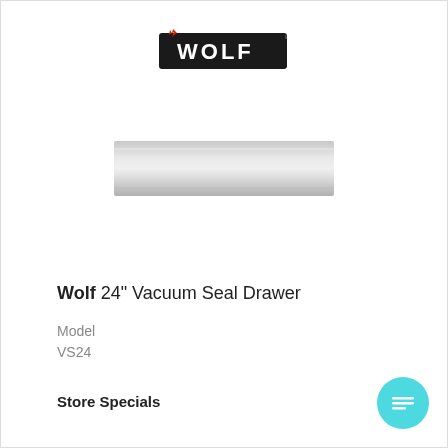[Figure (logo): Wolf brand logo — black rectangular badge with 'WOLF' text in white/silver letters and a red flame icon above the W]
[Figure (photo): Wolf 24-inch Vacuum Seal Drawer — a stainless steel panel drawer with a brushed metallic finish, shown as a horizontal rectangular appliance]
Wolf 24" Vacuum Seal Drawer
Model
VS24
Store Specials